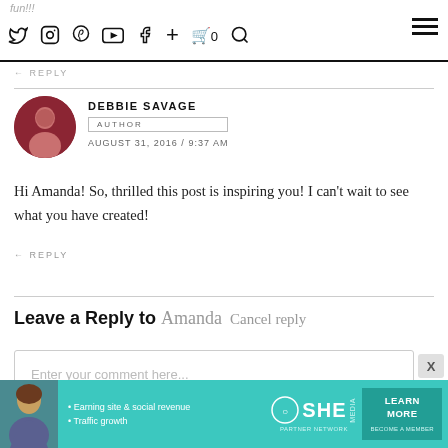fun!!! [social icons: twitter, instagram, pinterest, youtube, facebook, plus, cart 0, search] [hamburger menu]
← REPLY
DEBBIE SAVAGE
AUTHOR
AUGUST 31, 2016 / 9:37 AM
Hi Amanda! So, thrilled this post is inspiring you! I can't wait to see what you have created!
← REPLY
Leave a Reply to Amanda   Cancel reply
Enter your comment here...
[Figure (infographic): SHE Partner Network advertisement banner with teal background, woman photo, bullets about earning site & social revenue and traffic growth, SHE logo, and LEARN MORE button with BECOME A MEMBER text.]